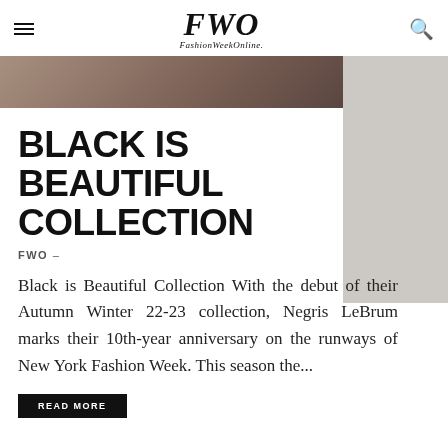FWO — FashionWeekOnline
[Figure (photo): Hero image strip showing a fashion model, partially visible, with grey sidebar area on the right]
BLACK IS BEAUTIFUL COLLECTION
FWO –
Black is Beautiful Collection With the debut of their Autumn Winter 22-23 collection, Negris LeBrum marks their 10th-year anniversary on the runways of New York Fashion Week. This season the...
READ MORE